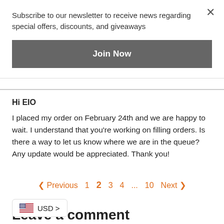Subscribe to our newsletter to receive news regarding special offers, discounts, and giveaways
Join Now
Hi EIO
I placed my order on February 24th and we are happy to wait. I understand that you're working on filling orders. Is there a way to let us know where we are in the queue? Any update would be appreciated. Thank you!
< Previous  1  2  3  4  ...  10  Next >
USD >
Leave a comment